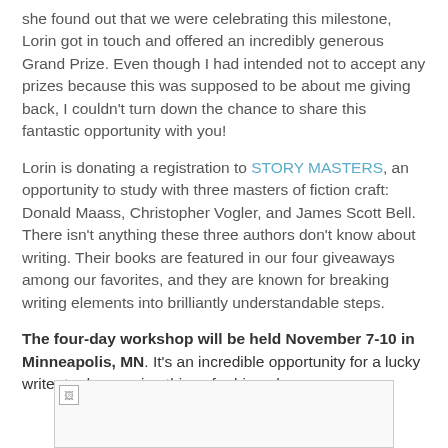she found out that we were celebrating this milestone, Lorin got in touch and offered an incredibly generous Grand Prize. Even though I had intended not to accept any prizes because this was supposed to be about me giving back, I couldn't turn down the chance to share this fantastic opportunity with you!
Lorin is donating a registration to STORY MASTERS, an opportunity to study with three masters of fiction craft: Donald Maass, Christopher Vogler, and James Scott Bell. There isn't anything these three authors don't know about writing. Their books are featured in our four giveaways among our favorites, and they are known for breaking writing elements into brilliantly understandable steps.
The four-day workshop will be held November 7-10 in Minneapolis, MN. It's an incredible opportunity for a lucky writer to do amazing things for his or her career.
[Figure (photo): Image placeholder with broken image icon in top-left corner, bordered box]